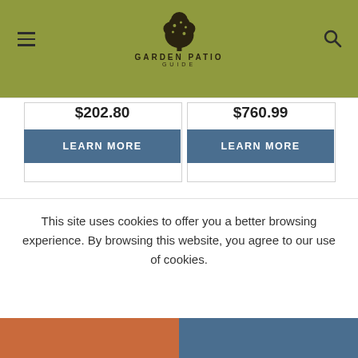Garden Patio Guide
$202.80
$760.99
LEARN MORE
LEARN MORE
[Figure (other): Gray product image placeholder (left)]
[Figure (other): Gray product image placeholder (right)]
This site uses cookies to offer you a better browsing experience. By browsing this website, you agree to our use of cookies.